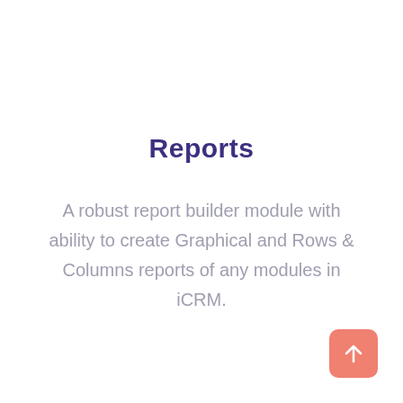Reports
A robust report builder module with ability to create Graphical and Rows & Columns reports of any modules in iCRM.
[Figure (other): Orange/salmon rounded square button with white upward arrow icon, positioned in bottom-right corner]